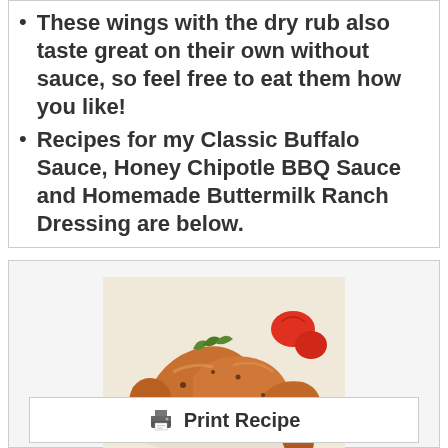These wings with the dry rub also taste great on their own without sauce, so feel free to eat them how you like!
Recipes for my Classic Buffalo Sauce, Honey Chipotle BBQ Sauce and Homemade Buttermilk Ranch Dressing are below.
[Figure (photo): Close-up photo of crispy chicken wings with dry rub seasoning, garnished with herbs, served on a white plate with tomatoes]
Print Recipe